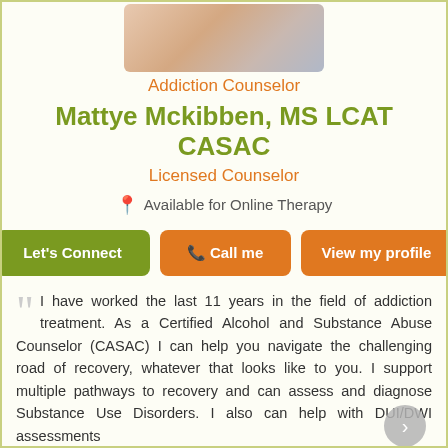[Figure (photo): Profile photo of Mattye Mckibben, a counselor wearing a white coat]
Addiction Counselor
Mattye Mckibben, MS LCAT CASAC
Licensed Counselor
Available for Online Therapy
Let's Connect | Call me | View my profile
I have worked the last 11 years in the field of addiction treatment. As a Certified Alcohol and Substance Abuse Counselor (CASAC) I can help you navigate the challenging road of recovery, whatever that looks like to you. I support multiple pathways to recovery and can assess and diagnose Substance Use Disorders. I also can help with DUI/DWI assessments